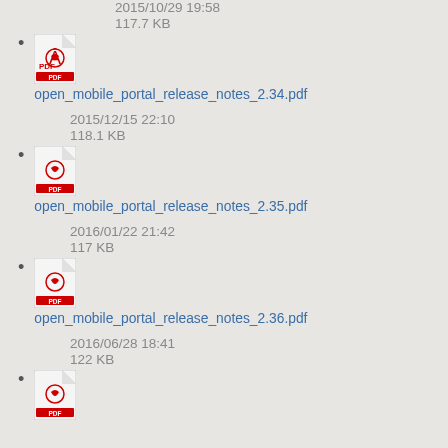2015/10/29 19:58
117.7 KB
open_mobile_portal_release_notes_2.34.pdf
2015/12/15 22:10
118.1 KB
open_mobile_portal_release_notes_2.35.pdf
2016/01/22 21:42
117 KB
open_mobile_portal_release_notes_2.36.pdf
2016/06/28 18:41
122 KB